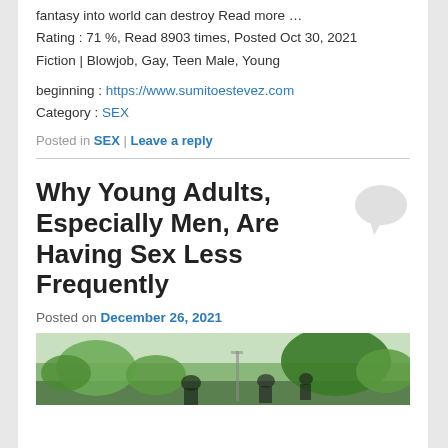fantasy into world can destroy Read more …
Rating : 71 %, Read 8903 times, Posted Oct 30, 2021
Fiction | Blowjob, Gay, Teen Male, Young
beginning : https://www.sumitoestevez.com
Category : SEX
Posted in SEX | Leave a reply
Why Young Adults, Especially Men, Are Having Sex Less Frequently
Posted on December 26, 2021
[Figure (photo): Outdoor photo of young people from behind, with trees and greenery in the background]